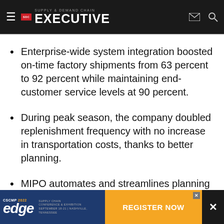Supply & Demand Chain Executive
Enterprise-wide system integration boosted on-time factory shipments from 63 percent to 92 percent while maintaining end-customer service levels at 90 percent.
During peak season, the company doubled replenishment frequency with no increase in transportation costs, thanks to better planning.
MIPO automates and streamlines planning and optimization, reducing manual work and human error.